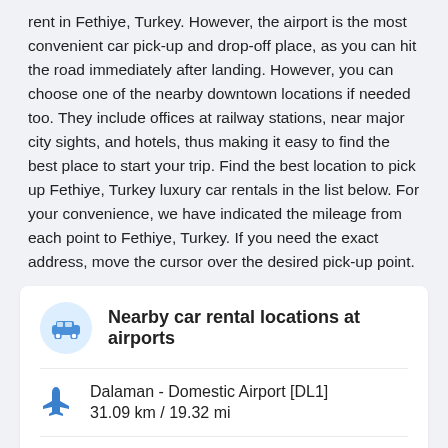rent in Fethiye, Turkey. However, the airport is the most convenient car pick-up and drop-off place, as you can hit the road immediately after landing. However, you can choose one of the nearby downtown locations if needed too. They include offices at railway stations, near major city sights, and hotels, thus making it easy to find the best place to start your trip. Find the best location to pick up Fethiye, Turkey luxury car rentals in the list below. For your convenience, we have indicated the mileage from each point to Fethiye, Turkey. If you need the exact address, move the cursor over the desired pick-up point.
Nearby car rental locations at airports
Dalaman - Domestic Airport [DL1]
31.09 km / 19.32 mi
Dalaman Airport [DLM]